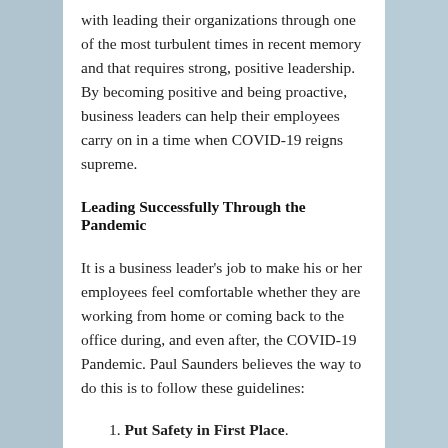with leading their organizations through one of the most turbulent times in recent memory and that requires strong, positive leadership. By becoming positive and being proactive, business leaders can help their employees carry on in a time when COVID-19 reigns supreme.
Leading Successfully Through the Pandemic
It is a business leader's job to make his or her employees feel comfortable whether they are working from home or coming back to the office during, and even after, the COVID-19 Pandemic. Paul Saunders believes the way to do this is to follow these guidelines:
Put Safety in First Place.
Make sure your employees have personal protective